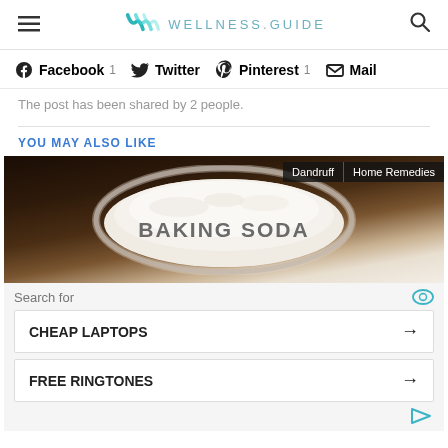WELLNESS.GUIDE
Facebook 1  Twitter  Pinterest 1  Mail
The post has been shared by 2 people.
YOU MAY ALSO LIKE
[Figure (photo): Glass bowl with baking soda powder on a dark wooden surface, text 'BAKING SODA' visible in the powder, with category tags 'Dandruff' and 'Home Remedies' overlaid in the top right corner.]
Search for
CHEAP LAPTOPS →
FREE RINGTONES →